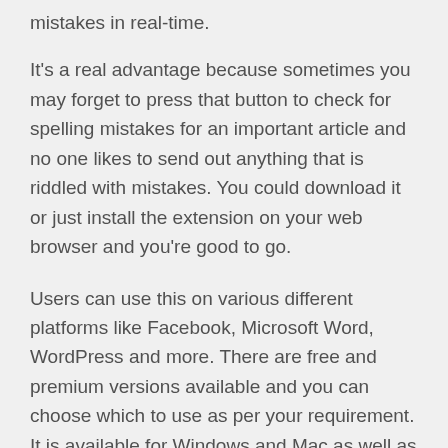mistakes in real-time.
It's a real advantage because sometimes you may forget to press that button to check for spelling mistakes for an important article and no one likes to send out anything that is riddled with mistakes. You could download it or just install the extension on your web browser and you're good to go.
Users can use this on various different platforms like Facebook, Microsoft Word, WordPress and more. There are free and premium versions available and you can choose which to use as per your requirement. It is available for Windows and Mac as well as on the Google Play Store and App Store for Android and iOS users respectively.
Conclusion